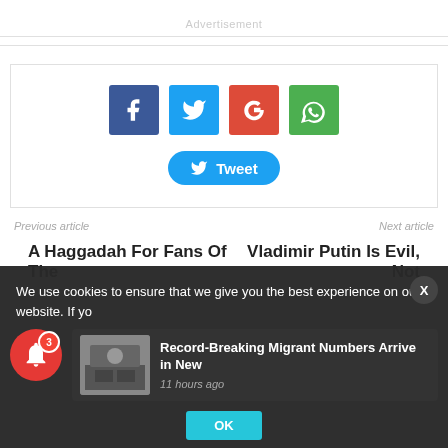Advertisement
[Figure (infographic): Social share buttons: Facebook (blue), Twitter (light blue), Google+ (red), WhatsApp (green), and a Tweet button below]
Previous article
Next article
A Haggadah For Fans Of The
Vladimir Putin Is Evil, Not
We use cookies to ensure that we give you the best experience on our website. If yo
[Figure (photo): Thumbnail of a building (news article image)]
Record-Breaking Migrant Numbers Arrive in New
11 hours ago
OK